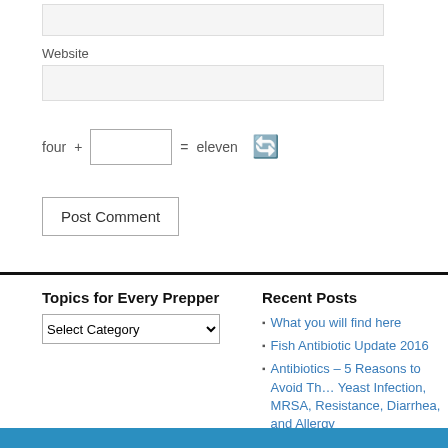Website
four + [input] = eleven [refresh icon]
Post Comment
Topics for Every Prepper
Select Category
Recent Posts
What you will find here
Fish Antibiotic Update 2016
Antibiotics – 5 Reasons to Avoid Th… Yeast Infection, MRSA, Resistance, Diarrhea, and Allergy
Armageddon Medicine – Survival Medicine